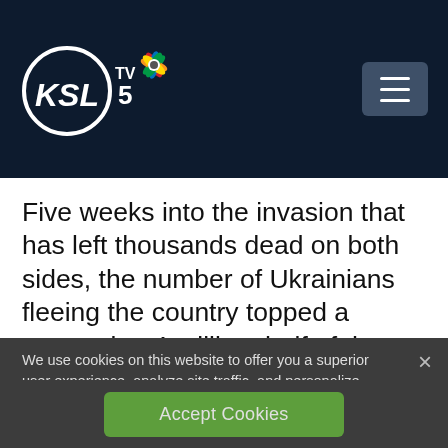[Figure (logo): KSL TV 5 NBC affiliate logo with peacock icon on dark navy header bar]
Five weeks into the invasion that has left thousands dead on both sides, the number of Ukrainians fleeing the country topped a staggering 4 million, half of them children, according to the United Nations.
We use cookies on this website to offer you a superior user experience, analyze site traffic, and personalize content and advertisements. By continuing to use our site, you consent to our use of cookies. Please visit our Privacy Policy for more information.
Accept Cookies